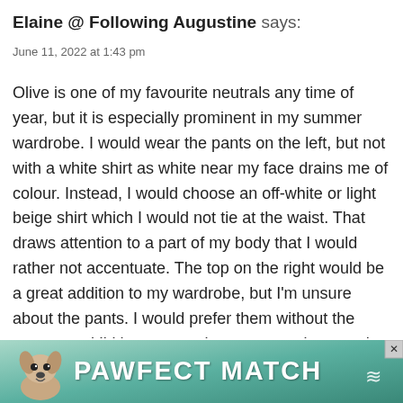Elaine @ Following Augustine says:
June 11, 2022 at 1:43 pm
Olive is one of my favourite neutrals any time of year, but it is especially prominent in my summer wardrobe. I would wear the pants on the left, but not with a white shirt as white near my face drains me of colour. Instead, I would choose an off-white or light beige shirt which I would not tie at the waist. That draws attention to a part of my body that I would rather not accentuate. The top on the right would be a great addition to my wardrobe, but I'm unsure about the pants. I would prefer them without the pattern and I'd have to try them on to make sure that the length was right. I would not want them to end at
[Figure (infographic): Advertisement banner for 'PAWFECT MATCH' featuring a dog illustration on a teal/green gradient background with a close button and a logo on the right.]